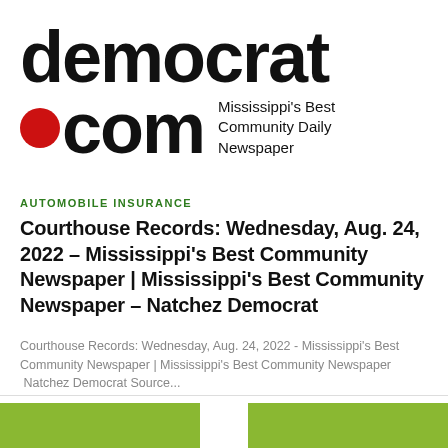[Figure (logo): Natchez Democrat newspaper logo: large bold text 'democrat' then '.com' with a red circle dot, followed by tagline 'Mississippi's Best Community Daily Newspaper']
AUTOMOBILE INSURANCE
Courthouse Records: Wednesday, Aug. 24, 2022 – Mississippi's Best Community Newspaper | Mississippi's Best Community Newspaper – Natchez Democrat
Courthouse Records: Wednesday, Aug. 24, 2022 - Mississippi's Best Community Newspaper | Mississippi's Best Community Newspaper  Natchez Democrat Source...
[Figure (illustration): Partial green image visible at bottom of page with white gap in center]